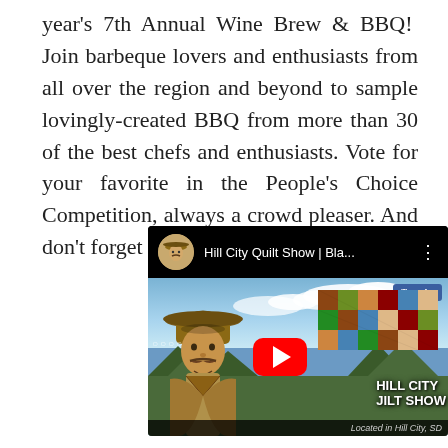year's 7th Annual Wine Brew & BBQ!  Join barbeque lovers and enthusiasts from all over the region and beyond to sample lovingly-created BBQ from more than 30 of the best chefs and enthusiasts. Vote for your favorite in the People's Choice Competition, always a crowd pleaser. And don't forget bring your family!
[Figure (screenshot): YouTube video thumbnail for 'Hill City Quilt Show | Bla...' showing a cowboy figure on the left, a quilt pattern on the right, mountains and sky in the background, a red YouTube play button in the center, 'HILL CITY QUILT SHOW' text, Traveler logo in top right corner, and 'Located in Hill City, SD' caption at the bottom.]